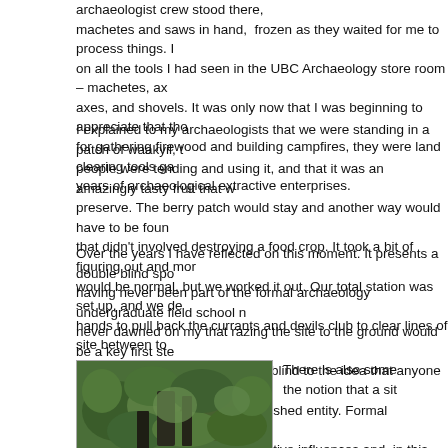archaeologist crew stood there, machetes and saws in hand, frozen as they waited for me to process things. on all the tools I had seen in the UBC Archaeology store room – machetes, axes, and shovels. It was only now that I was beginning to appreciate that those for gathering firewood and building campfires, they were land clearing tools ga years of archaeological extractive enterprises.
I explained to my archaeologists that we were standing in a patch of waakyil, people were tending and using it, and that it was an amazingly tasty fruit that preserve. The berry patch would stay and another way would have to be found that didn't involved destroying a food crop. It took a bit of figuring out and more would be normal, but we worked it out. Our total station was set up, and we de hands to pull back the currants and devils club to clear lines of site between to prism reflectors.
Over the years I have reflected on this moment. It presents a double blind spo having never been part of the formal archaeology undergraduate field school never dawned on my that razing the site to the ground would be a key first ste site for scientific research. I was blind to the idea that anyone could see waaky obstruction rather than as a cherished entity. Formal archaeology in its intent deliberately blinds itself to subjective influences and, in this pragmatic sense, anything in the way of scientifically describing and analyzing a 'site.'
[Figure (photo): Photograph showing green leafy vegetation/plants, likely the waakyil berry patch mentioned in the text]
There is also some the notion that a sit